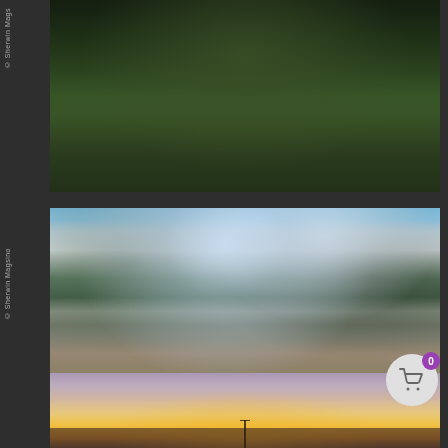[Figure (photo): Partially cropped top photo showing a forested mountainside with dense green trees and dark rocky terrain, attributed to Sherwin Magsino]
© Sherwin Mags
[Figure (photo): Yosemite Valley panoramic photo showing granite cliffs, green trees, dramatic clouds and a river/stream in the foreground with rocky riverbed, attributed to Sherwin Magsino]
© Sherwin Magsino
[Figure (photo): Sunset landscape photo with warm orange and golden hues on the horizon with faint tower silhouette, partially visible at bottom]